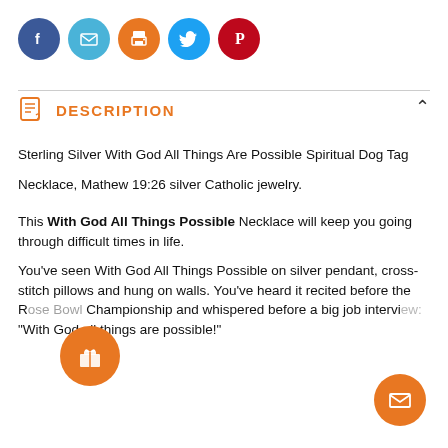[Figure (other): Social sharing icons row: Facebook (dark blue), Email (light blue), Print (orange), Twitter (blue), Pinterest (red)]
DESCRIPTION
Sterling Silver With God All Things Are Possible Spiritual Dog Tag
Necklace, Mathew 19:26 silver Catholic jewelry.
This With God All Things Possible Necklace will keep you going through difficult times in life.
You've seen With God All Things Possible on silver pendant, cross-stitch pillows and hung on walls. You've heard it recited before the Rose Bowl Championship and whispered before a big job interview: "With God all things are possible!"